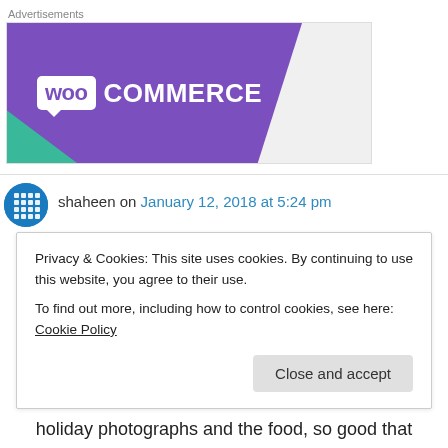Advertisements
[Figure (logo): WooCommerce advertisement banner with purple background, teal triangle at bottom-left, and WooCommerce logo in white text]
shaheen on January 12, 2018 at 5:24 pm
Privacy & Cookies: This site uses cookies. By continuing to use this website, you agree to their use.
To find out more, including how to control cookies, see here: Cookie Policy
Close and accept
holiday photographs and the food, so good that